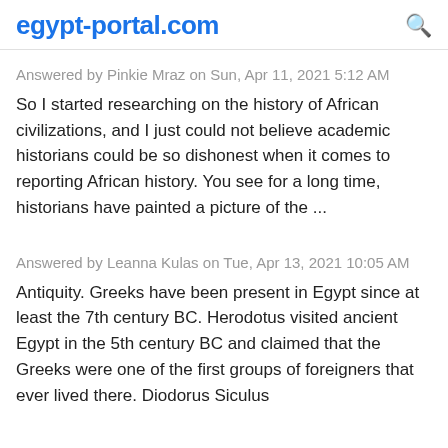egypt-portal.com
Answered by Pinkie Mraz on Sun, Apr 11, 2021 5:12 AM
So I started researching on the history of African civilizations, and I just could not believe academic historians could be so dishonest when it comes to reporting African history. You see for a long time, historians have painted a picture of the ...
Answered by Leanna Kulas on Tue, Apr 13, 2021 10:05 AM
Antiquity. Greeks have been present in Egypt since at least the 7th century BC. Herodotus visited ancient Egypt in the 5th century BC and claimed that the Greeks were one of the first groups of foreigners that ever lived there. Diodorus Siculus